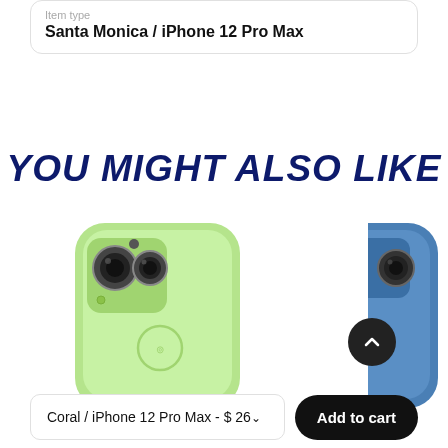Item type
Santa Monica / iPhone 12 Pro Max
YOU MIGHT ALSO LIKE
[Figure (photo): Green iPhone case (back view) and partial blue iPhone case on the right edge]
Coral / iPhone 12 Pro Max - $ 26
Add to cart